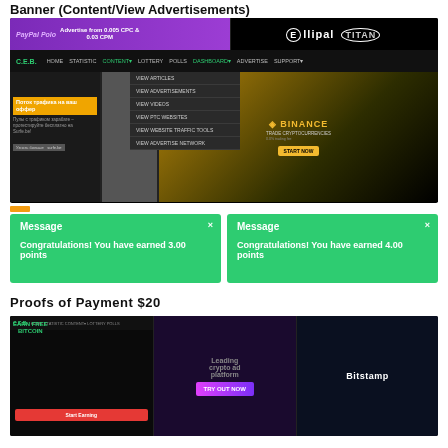Banner (Content/View Advertisements)
[Figure (screenshot): Screenshot of a website called C.E.B. showing banner advertisements including Ellipal Titan, Binance Trade Cryptocurrencies ad, and a Russian traffic ad, with a dropdown menu open under CONTENT showing VIEW ARTICLES, VIEW ADVERTISEMENTS, VIEW VIDEOS, VIEW PTC WEBSITES, VIEW WEBSITE TRAFFIC TOOLS, VIEW ADVERTISE NETWORK]
[Figure (screenshot): Two green message notification boxes: left box says 'Message - Congratulations! You have earned 3.00 points', right box says 'Message - Congratulations! You have earned 4.00 points']
Proofs of Payment $20
[Figure (screenshot): Screenshot of C.E.B. website showing Earn Free Bitcoin section, a Leading crypto ad platform with TRY OUT NOW button, and Bitstamp advertisement]